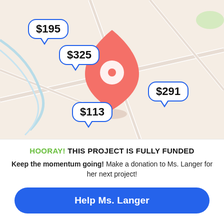[Figure (map): Street map with a large red/salmon location pin in the center-top area, and four blue speech-bubble price callouts: $195 (upper left), $325 (upper left overlapping), $291 (right), $113 (lower left)]
HOORAY! THIS PROJECT IS FULLY FUNDED
Keep the momentum going! Make a donation to Ms. Langer for her next project!
Help Ms. Langer